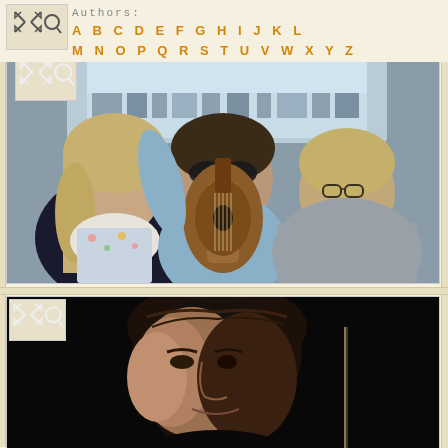Authors: A B C D E F G H I J K L M N O P Q R S T U V W X Y Z
[Figure (photo): Three people sitting together indoors, the middle person holding an acoustic guitar and wearing sunglasses. The person on the left has long blonde hair and a floral top with a white scarf. The person on the right has short blonde hair and glasses and wears a grey jacket.]
[Figure (photo): Close-up portrait of a man with dark hair against a dark background, partially lit, the image is somewhat out of focus.]